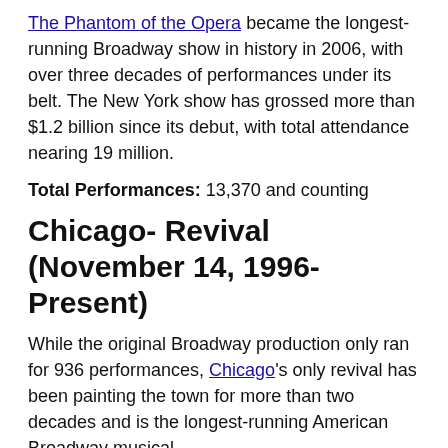The Phantom of the Opera became the longest-running Broadway show in history in 2006, with over three decades of performances under its belt. The New York show has grossed more than $1.2 billion since its debut, with total attendance nearing 19 million.
Total Performances: 13,370 and counting
Chicago- Revival (November 14, 1996- Present)
While the original Broadway production only ran for 936 performances, Chicago's only revival has been painting the town for more than two decades and is the longest-running American Broadway musical.
Total performances: 9,692 and counting